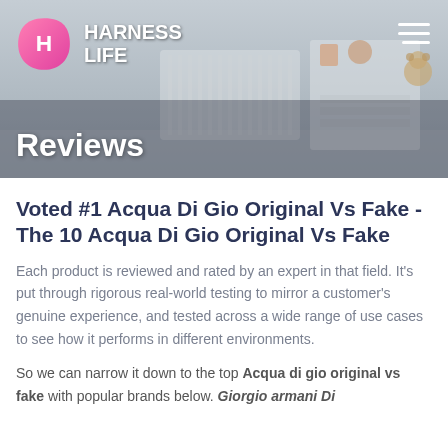[Figure (screenshot): Harness Life website header banner with nursery room background image]
Reviews
Voted #1 Acqua Di Gio Original Vs Fake - The 10 Acqua Di Gio Original Vs Fake
Each product is reviewed and rated by an expert in that field. It's put through rigorous real-world testing to mirror a customer's genuine experience, and tested across a wide range of use cases to see how it performs in different environments.
So we can narrow it down to the top Acqua di gio original vs fake with popular brands below. Giorgio armani Di